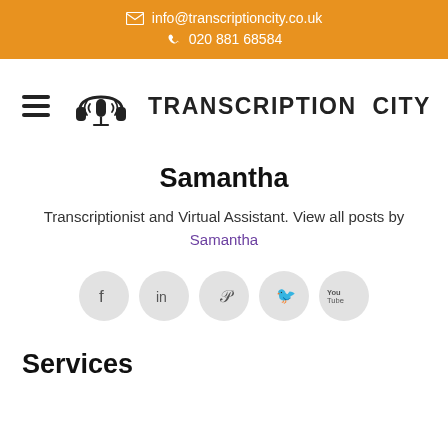info@transcriptioncity.co.uk  020 881 68584
[Figure (logo): Transcription City logo with hamburger menu icon, headphones/microphone icon, and TRANSCRIPTION CITY brand name text]
Samantha
Transcriptionist and Virtual Assistant. View all posts by Samantha
[Figure (infographic): Social media icons: Facebook, LinkedIn, Pinterest, Twitter, YouTube — each in a light grey circle]
Services